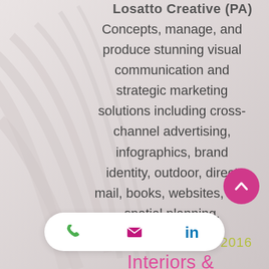Losatto Creative (PA)
Concepts, manage, and produce stunning visual communication and strategic marketing solutions including cross-channel advertising, infographics, brand identity, outdoor, direct mail, books, websites, and spatial planning.
2012 - 2016
Interiors & Communication
IKEA (Corporate Store in PA)
Analyzed and developed creative strategies with sales partners to achieve KPI goals through effective display solutions planning within prescribed timeline and budget... creative for brand... for the